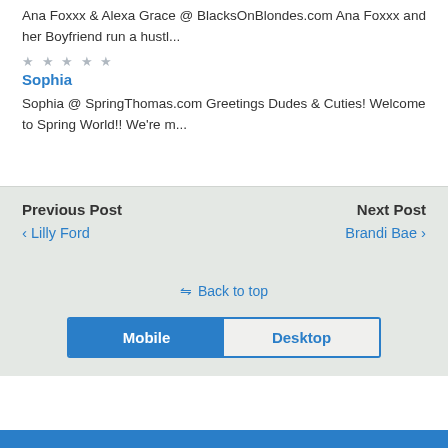Ana Foxxx & Alexa Grace @ BlacksOnBlondes.com Ana Foxxx and her Boyfriend run a hustl...
Sophia @ SpringThomas.com Greetings Dudes & Cuties! Welcome to Spring World!! We're m...
Sophia
Previous Post ‹ Lilly Ford   Next Post Brandi Bae ›
⇈ Back to top
Mobile   Desktop